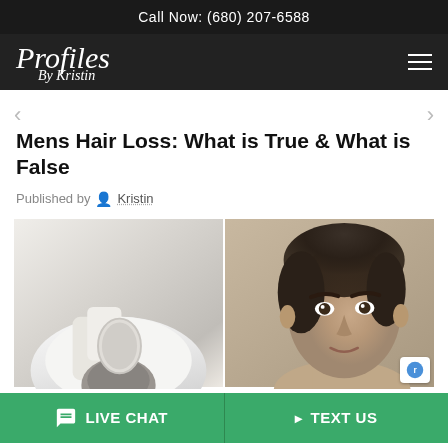Call Now: (680) 207-6588
Profiles By Kristin
Mens Hair Loss: What is True & What is False
Published by Kristin
[Figure (photo): Two side-by-side images related to mens hair loss: left image shows a person in white clothing, right image shows a young man with dark hair.]
LIVE CHAT   TEXT US